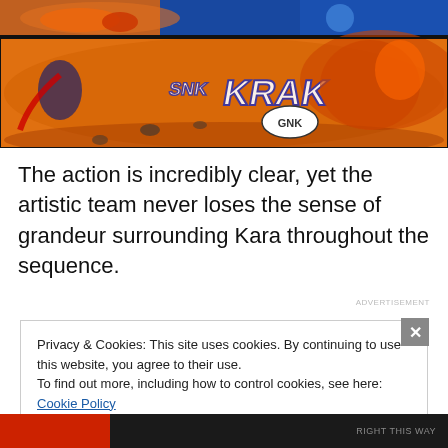[Figure (illustration): Comic book panels showing an action sequence with a superhero (Kara/Supergirl) fighting a fiery creature. Top panel shows the hero in blue against orange/fire background. Bottom panel shows action with sound effect text 'SNK KRAK' and speech bubble 'GNK'.]
The action is incredibly clear, yet the artistic team never loses the sense of grandeur surrounding Kara throughout the sequence.
ADVERTISEMENT
Privacy & Cookies: This site uses cookies. By continuing to use this website, you agree to their use.
To find out more, including how to control cookies, see here: Cookie Policy
Close and accept